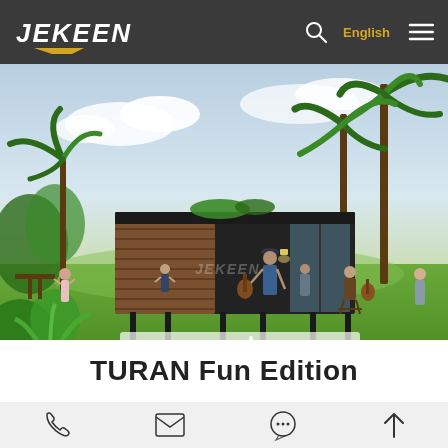JEKEEN — English navigation bar with search and menu icons
[Figure (photo): Outdoor scene showing a modern dark-clad modular/container house with wood panel accent wall and large glass facade, elevated on legs, surrounded by palm trees and lush greenery. Several people are gathered outside on the grass — some playing guitar, some socializing, a person near a BBQ grill, and a small white duck in the foreground. Sky with light clouds in background.]
TURAN Fun Edition
Icon bar with phone, email, chat, and scroll-to-top icons